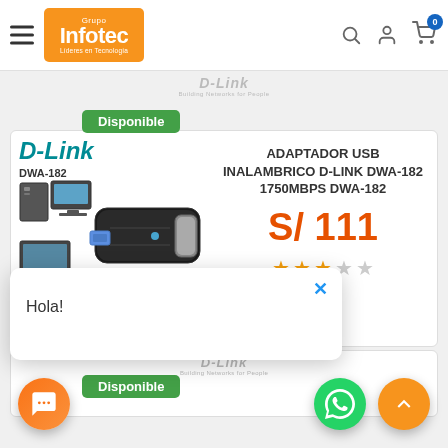[Figure (logo): Grupo Infotec logo - orange rectangle with white text]
[Figure (screenshot): E-commerce product page for D-Link DWA-182 USB wireless adapter on Grupo Infotec website. Shows product image, price S/111, rating 3/5 stars, Disponible badge, and a chat popup saying Hola!]
ADAPTADOR USB INALAMBRICO D-LINK DWA-182 1750MBPS DWA-182
S/ 111
Disponible
Hola!